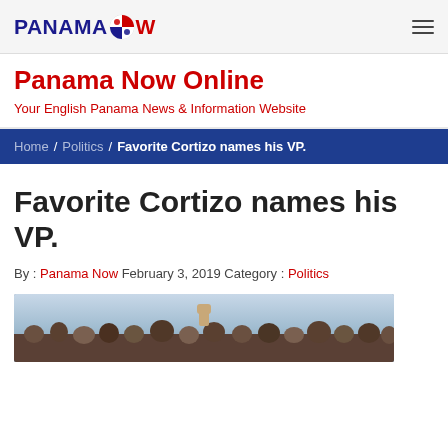PANAMA NOW (logo) — navigation header
Panama Now Online
Your English Panama News & Information Website
Home / Politics / Favorite Cortizo names his VP.
Favorite Cortizo names his VP.
By : Panama Now February 3, 2019 Category : Politics
[Figure (photo): Crowd photo showing people with raised fists at a political rally]